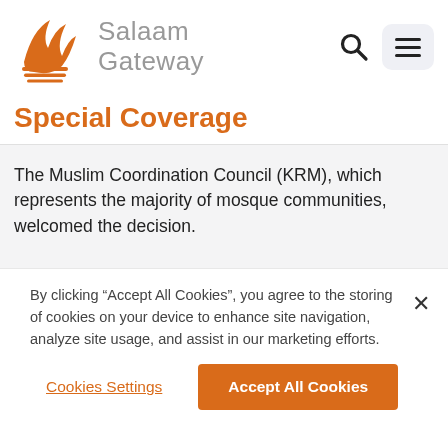[Figure (logo): Salaam Gateway logo with orange wave/flame icon and gray text]
Special Coverage
The Muslim Coordination Council (KRM), which represents the majority of mosque communities, welcomed the decision.
By clicking “Accept All Cookies”, you agree to the storing of cookies on your device to enhance site navigation, analyze site usage, and assist in our marketing efforts.
Cookies Settings
Accept All Cookies